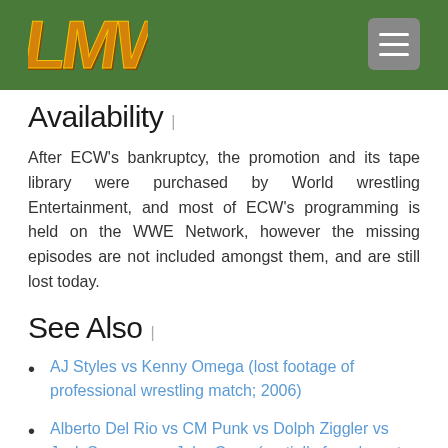LMW logo and navigation menu
Availability |
After ECW's bankruptcy, the promotion and its tape library were purchased by World wrestling Entertainment, and most of ECW's programming is held on the WWE Network, however the missing episodes are not included amongst them, and are still lost today.
See Also |
AJ Styles vs Kenny Omega (lost footage of professional wrestling match; 2006)
Alberto Del Rio vs CM Punk vs Dolph Ziggler vs Jack Swagger vs John Cena (partially found master tape footage of untelevised Hell in a Cell match; 2011)